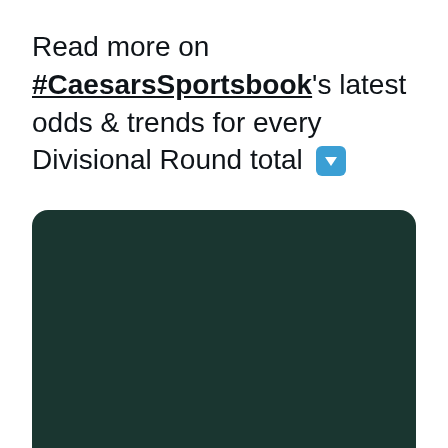Read more on #CaesarsSportsbook's latest odds & trends for every Divisional Round total ⬇
[Figure (other): Dark teal/green rounded rectangle image placeholder, likely an infographic or card from Caesars Sportsbook about Divisional Round totals odds and trends]